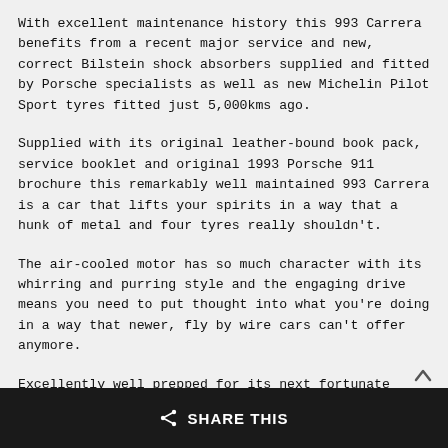With excellent maintenance history this 993 Carrera benefits from a recent major service and new, correct Bilstein shock absorbers supplied and fitted by Porsche specialists as well as new Michelin Pilot Sport tyres fitted just 5,000kms ago.
Supplied with its original leather-bound book pack, service booklet and original 1993 Porsche 911 brochure this remarkably well maintained 993 Carrera is a car that lifts your spirits in a way that a hunk of metal and four tyres really shouldn't.
The air-cooled motor has so much character with its whirring and purring style and the engaging drive means you need to put thought into what you're doing in a way that newer, fly by wire cars can't offer anymore.
Excellently well prepped for its next fortunate custodian, this 993 not only offers great investment potential, this is an asset that is the ultimate expression of personal freedom.
SHARE THIS